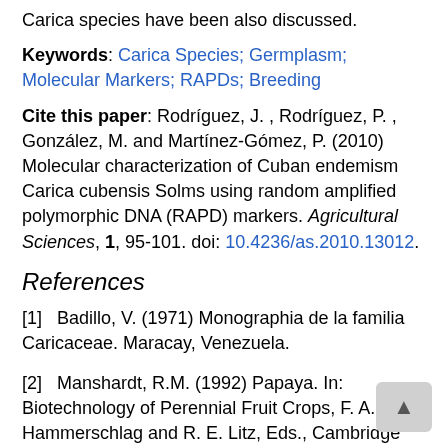Carica species have been also discussed.
Keywords: Carica Species; Germplasm; Molecular Markers; RAPDs; Breeding
Cite this paper: Rodríguez, J. , Rodríguez, P. , González, M. and Martínez-Gómez, P. (2010) Molecular characterization of Cuban endemism Carica cubensis Solms using random amplified polymorphic DNA (RAPD) markers. Agricultural Sciences, 1, 95-101. doi: 10.4236/as.2010.13012.
References
[1]   Badillo, V. (1971) Monographia de la familia Caricaceae. Maracay, Venezuela.
[2]   Manshardt, R.M. (1992) Papaya. In: Biotechnology of Perennial Fruit Crops, F. A. Hammerschlag and R. E. Litz, Eds., Cambridge University Press, Oxford, 489-511.